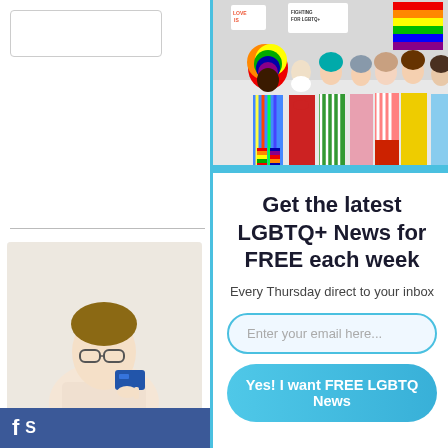[Figure (photo): Group of diverse people holding LGBTQ+ pride signs and rainbow flags]
Get the latest LGBTQ+ News for FREE each week
Every Thursday direct to your inbox
[Figure (photo): Woman with glasses holding a blue card]
[Figure (photo): Person lying down, appears to be medical or relaxation scene]
Enter your email here...
Yes! I want FREE LGBTQ News
f S